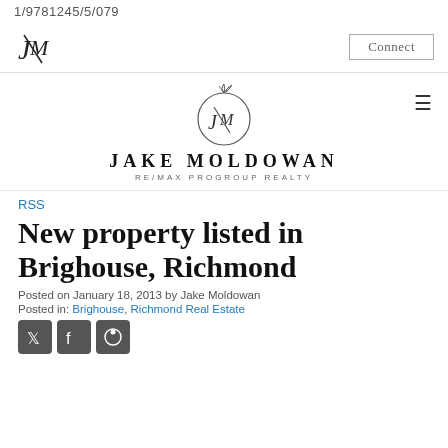1/9781245/5/079
[Figure (logo): JM monogram logo small, top left]
Connect
[Figure (logo): Jake Moldowan JM circular logo with leaf/branch decoration]
JAKE MOLDOWAN
RE/MAX PROGROUP REALTY
RSS
New property listed in Brighouse, Richmond
Posted on January 18, 2013 by Jake Moldowan
Posted in: Brighouse, Richmond Real Estate
[Figure (other): Social sharing icons: Twitter, Facebook, Pinterest]